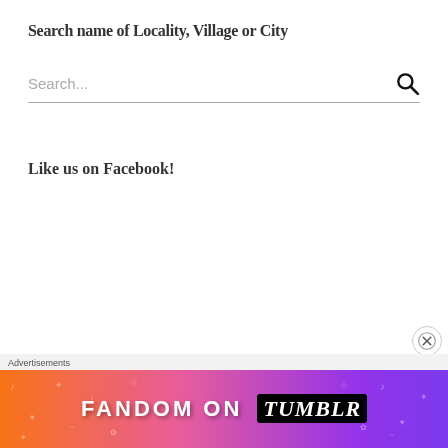Search name of Locality, Village or City
Search...
Like us on Facebook!
Advertisements
[Figure (illustration): Fandom on Tumblr advertisement banner with colorful gradient background from orange to purple with doodles and white text reading FANDOM ON tumblr]